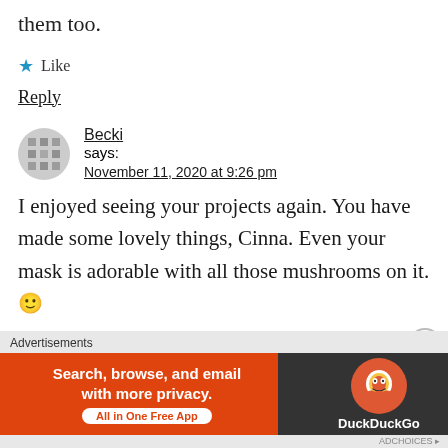them too.
★ Like
Reply
Becki says: November 11, 2020 at 9:26 pm
I enjoyed seeing your projects again. You have made some lovely things, Cinna. Even your mask is adorable with all those mushrooms on it. 🙂
★ Like
Advertisements
[Figure (other): DuckDuckGo advertisement banner: 'Search, browse, and email with more privacy. All in One Free App' with DuckDuckGo duck logo on dark background]